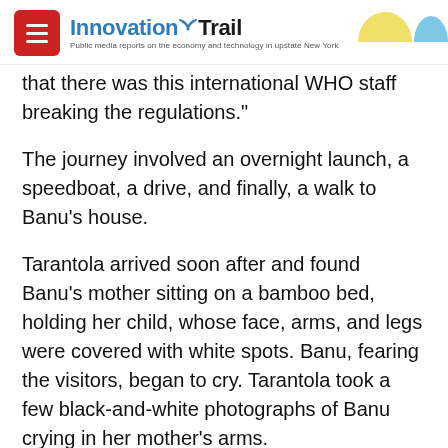InnovationTrail – Public media reports on the economy and technology in upstate New York
that there was this international WHO staff breaking the regulations."
The journey involved an overnight launch, a speedboat, a drive, and finally, a walk to Banu's house.
Tarantola arrived soon after and found Banu's mother sitting on a bamboo bed, holding her child, whose face, arms, and legs were covered with white spots. Banu, fearing the visitors, began to cry. Tarantola took a few black-and-white photographs of Banu crying in her mother's arms.
"My mother was shocked," Banu says. "She couldn't